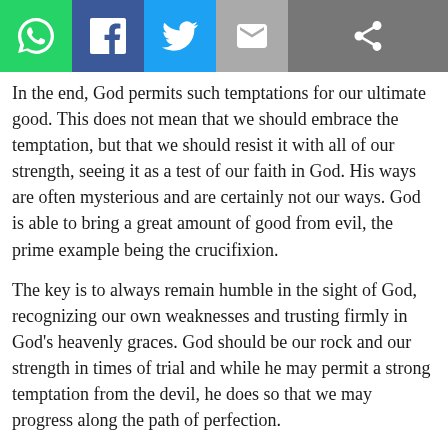[Figure (other): Social sharing toolbar with WhatsApp, Facebook, Twitter, Email, and Share icons]
In the end, God permits such temptations for our ultimate good. This does not mean that we should embrace the temptation, but that we should resist it with all of our strength, seeing it as a test of our faith in God. His ways are often mysterious and are certainly not our ways. God is able to bring a great amount of good from evil, the prime example being the crucifixion.
The key is to always remain humble in the sight of God, recognizing our own weaknesses and trusting firmly in God's heavenly graces. God should be our rock and our strength in times of trial and while he may permit a strong temptation from the devil, he does so that we may progress along the path of perfection.